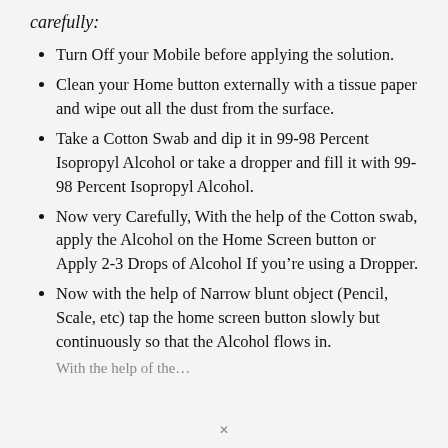carefully:
Turn Off your Mobile before applying the solution.
Clean your Home button externally with a tissue paper and wipe out all the dust from the surface.
Take a Cotton Swab and dip it in 99-98 Percent Isopropyl Alcohol or take a dropper and fill it with 99-98 Percent Isopropyl Alcohol.
Now very Carefully, With the help of the Cotton swab, apply the Alcohol on the Home Screen button or Apply 2-3 Drops of Alcohol If you're using a Dropper.
Now with the help of Narrow blunt object (Pencil, Scale, etc) tap the home screen button slowly but continuously so that the Alcohol flows in.
With the help of the…